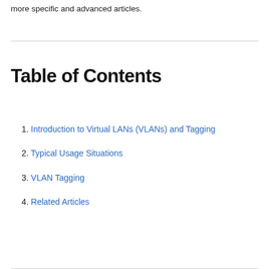more specific and advanced articles.
Table of Contents
1. Introduction to Virtual LANs (VLANs) and Tagging
2. Typical Usage Situations
3. VLAN Tagging
4. Related Articles